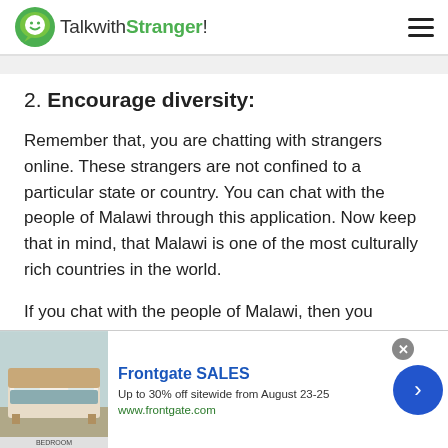TalkwithStranger!
2. Encourage diversity:
Remember that, you are chatting with strangers online. These strangers are not confined to a particular state or country. You can chat with the people of Malawi through this application. Now keep that in mind, that Malawi is one of the most culturally rich countries in the world.
If you chat with the people of Malawi, then you should stay open to accept the diversity and cultural
[Figure (screenshot): Advertisement banner for Frontgate SALES — Up to 30% off sitewide from August 23-25, www.frontgate.com. Shows bedroom image on left and a blue arrow button on right.]